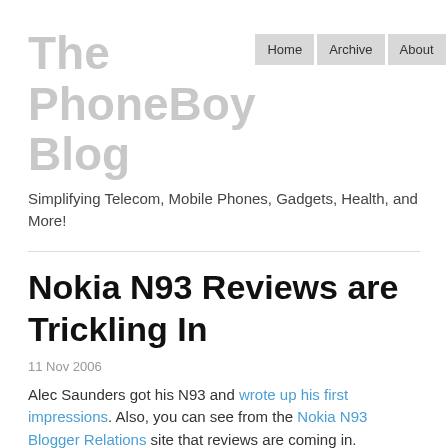The PhoneBoy Blog
Home   Archive   About   RSS
Simplifying Telecom, Mobile Phones, Gadgets, Health, and More!
Nokia N93 Reviews are Trickling In
11 Nov 2006
Alec Saunders got his N93 and wrote up his first impressions. Also, you can see from the Nokia N93 Blogger Relations site that reviews are coming in.